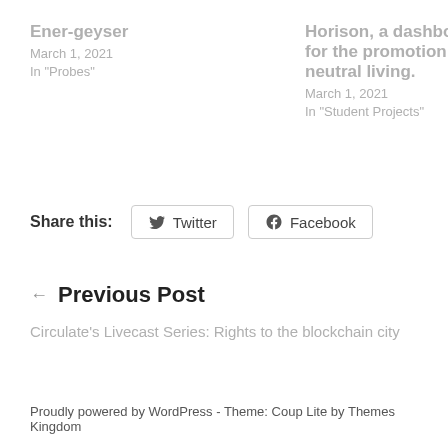Ener-geyser
March 1, 2021
In "Probes"
Horison, a dashboard for the promotion of neutral living.
March 1, 2021
In "Student Projects"
Share this:
Twitter
Facebook
← Previous Post
Circulate's Livecast Series: Rights to the blockchain city
Proudly powered by WordPress - Theme: Coup Lite by Themes Kingdom